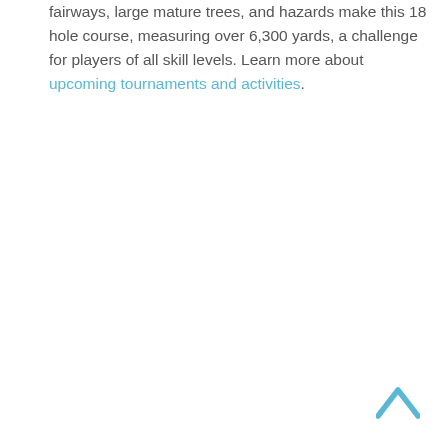fairways, large mature trees, and hazards make this 18 hole course, measuring over 6,300 yards, a challenge for players of all skill levels. Learn more about upcoming tournaments and activities.
[Figure (other): A light blue upward-pointing chevron/caret icon in the bottom-right corner, used as a scroll-to-top button.]